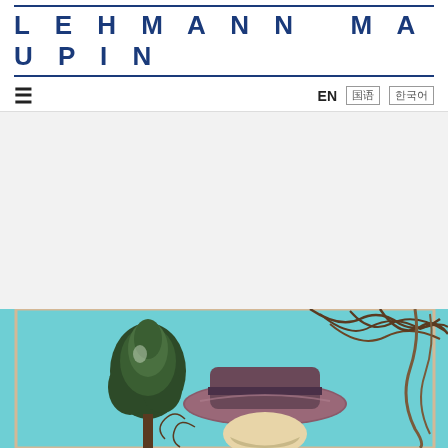LEHMANN MAUPIN
≡  EN  ?? ???
[Figure (photo): Painting showing a figure wearing a wide-brimmed hat in front of an evergreen tree and decorative foliage on a turquoise background]